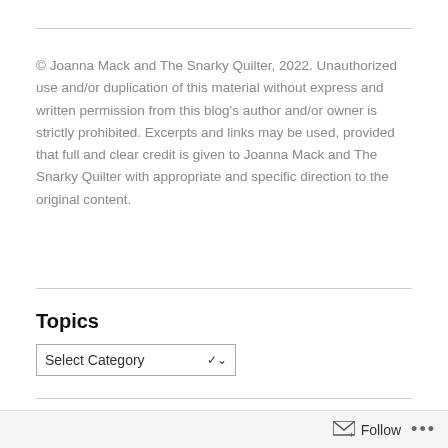© Joanna Mack and The Snarky Quilter, 2022. Unauthorized use and/or duplication of this material without express and written permission from this blog's author and/or owner is strictly prohibited. Excerpts and links may be used, provided that full and clear credit is given to Joanna Mack and The Snarky Quilter with appropriate and specific direction to the original content.
Topics
Select Category
Follow Blog via Email
Enter your email address to follow this blog and receive notifications of
Follow ···